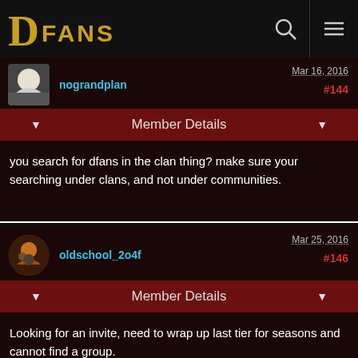[Figure (logo): DFans logo with large D and FANS text in gold on black navigation bar]
nograndplan — Mar 16, 2016 — #144
Member Details
you search for dfans in the clan thing? make sure your searching under clans, and not under communities.
oldschool_2o4f — Mar 25, 2016 — #146
Member Details
Looking for an invite, need to wrap up last tier for seasons and cannot find a group.
Nvr mind.